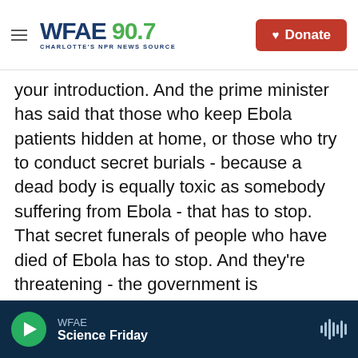WFAE 90.7 Charlotte's NPR News Source | Donate
your introduction. And the prime minister has said that those who keep Ebola patients hidden at home, or those who try to conduct secret burials - because a dead body is equally toxic as somebody suffering from Ebola - that has to stop. That secret funerals of people who have died of Ebola has to stop. And they're threatening - the government is threatening to prosecute those who continue this.
RATH: So what else does the government need to do now?
QUIST-ARCTON: Well, they have launched a new
WFAE Science Friday